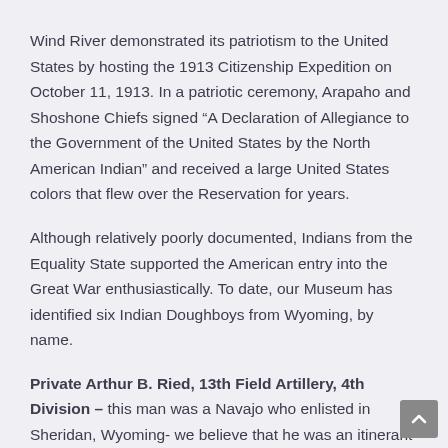Wind River demonstrated its patriotism to the United States by hosting the 1913 Citizenship Expedition on October 11, 1913. In a patriotic ceremony, Arapaho and Shoshone Chiefs signed “A Declaration of Allegiance to the Government of the United States by the North American Indian” and received a large United States colors that flew over the Reservation for years.
Although relatively poorly documented, Indians from the Equality State supported the American entry into the Great War enthusiastically. To date, our Museum has identified six Indian Doughboys from Wyoming, by name.
Private Arthur B. Ried, 13th Field Artillery, 4th Division – this man was a Navajo who enlisted in Sheridan, Wyoming- we believe that he was an itinerant worker, likely at a Sheridan County ranch, who joined the service from where he was working. We know nothing more about this man’s service or life.